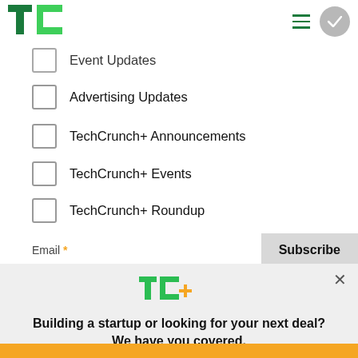[Figure (logo): TechCrunch TC logo in green]
Event Updates
Advertising Updates
TechCrunch+ Announcements
TechCrunch+ Events
TechCrunch+ Roundup
Email *
Subscribe
[Figure (logo): TC+ logo in green and gold]
Building a startup or looking for your next deal? We have you covered.
EXPLORE NOW